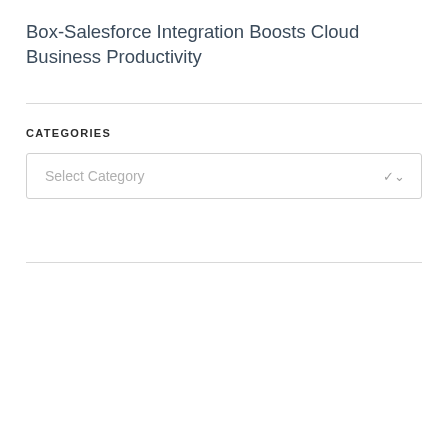Box-Salesforce Integration Boosts Cloud Business Productivity
CATEGORIES
Select Category